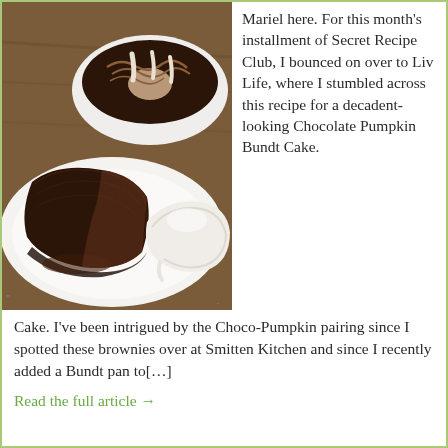[Figure (photo): A chocolate bundt cake on a white plate in the background, and a slice of chocolate bundt cake with chocolate glaze next to a scoop of ice cream on a white plate in the foreground, on a wooden surface.]
Mariel here. For this month’s installment of Secret Recipe Club, I bounced on over to Liv Life, where I stumbled across this recipe for a decadent-looking Chocolate Pumpkin Bundt Cake.
Cake. I’ve been intrigued by the Choco-Pumpkin pairing since I spotted these brownies over at Smitten Kitchen and since I recently added a Bundt pan to[…]
Read the full article →